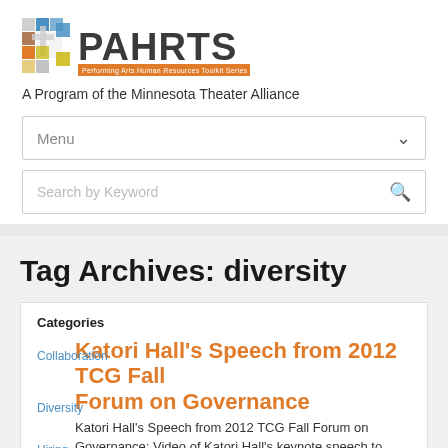[Figure (logo): PAHRTS logo with colorful geometric squares and text 'Performing Arts Human Resources Toolkit Series']
A Program of the Minnesota Theater Alliance
Menu
Search by Keyword
Tag Archives: diversity
Categories
Katori Hall's Speech from 2012 TCG Fall Forum on Governance
Collaboration
Diversity
Hiring
Classifying
Katori Hall's Speech from 2012 TCG Fall Forum on Governance: Video of Katori Hall's keynote speech to TCG's Fall Forum on Governance to the nation's theatre trustees